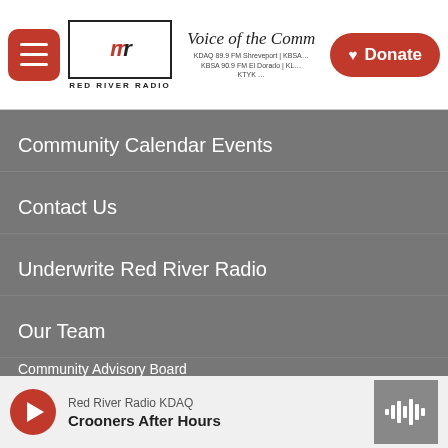Voice of the Community — Red River Radio | KDAQ 89.9 FM Shreveport | KBSA 90.9 FM El Dorado | KTYK — Donate
Community Calendar Events
Contact Us
Underwrite Red River Radio
Our Team
Community Advisory Board
Audited Financial Reports & EEO Statement
CPB Community Service Report
Red River Radio Public File
Red River Radio KDAQ — Crooners After Hours